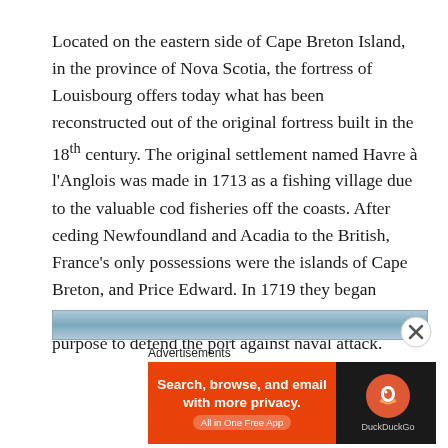Located on the eastern side of Cape Breton Island, in the province of Nova Scotia, the fortress of Louisbourg offers today what has been reconstructed out of the original fortress built in the 18th century. The original settlement named Havre à l'Anglois was made in 1713 as a fishing village due to the valuable cod fisheries off the coasts. After ceding Newfoundland and Acadia to the British, France's only possessions were the islands of Cape Breton, and Price Edward. In 1719 they began fortifying the fishing town of Louisbourg, with a purpose to defend the port against naval attack.
[Figure (photo): Partial view of a sky/landscape photo strip at the bottom of the article content area]
Advertisements
[Figure (screenshot): DuckDuckGo advertisement banner: 'Search, browse, and email with more privacy. All in One Free App' on orange background with DuckDuckGo logo on dark background]